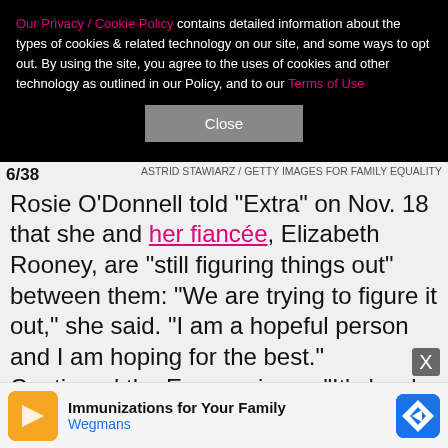Our Privacy / Cookie Policy contains detailed information about the types of cookies & related technology on our site, and some ways to opt out. By using the site, you agree to the uses of cookies and other technology as outlined in our Policy, and to our Terms of Use
Close
6/38    ASTRID STAWIARZ / GETTY IMAGES FOR FAMILY EQUALITY
Rosie O'Donnell told "Extra" on Nov. 18 that she and her fiancée, Elizabeth Rooney, are "still figuring things out" between them: "We are trying to figure it out," she said. "I am a hopeful person and I am hoping for the best." Continued the Emmy winner, "It's hard in the public light. It's hard for a person who is a normal person in a normal job. I'm kind of used to it." She echoed to Us Weekly. "We're trying to work out what's
[Figure (screenshot): Advertisement banner for Wegmans Immunizations for Your Family]